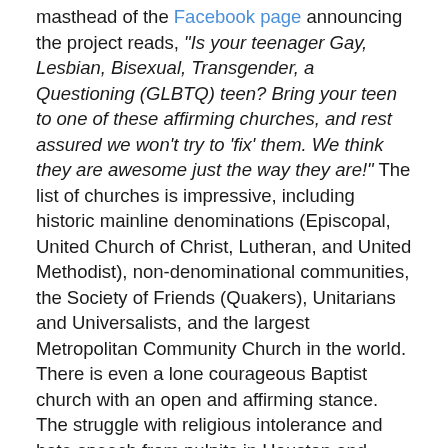masthead of the Facebook page announcing the project reads, "Is your teenager Gay, Lesbian, Bisexual, Transgender, a Questioning (GLBTQ) teen? Bring your teen to one of these affirming churches, and rest assured we won't try to 'fix' them. We think they are awesome just the way they are!" The list of churches is impressive, including historic mainline denominations (Episcopal, United Church of Christ, Lutheran, and United Methodist), non-denominational communities, the Society of Friends (Quakers), Unitarians and Universalists, and the largest Metropolitan Community Church in the world.  There is even a lone courageous Baptist church with an open and affirming stance. The struggle with religious intolerance and hate speech from pulpits in Houston and around the nation will go on for a long time. Thousands of congregations in the Houston metro area deny the acceptability of homosexuality and gender non-conformity